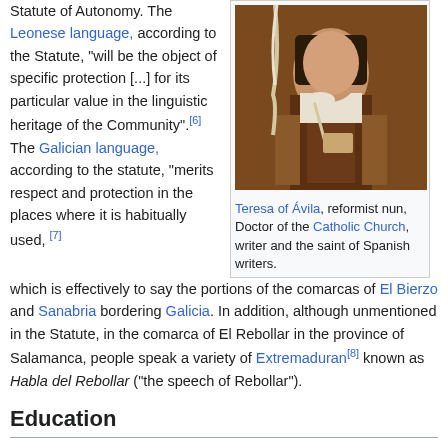Statute of Autonomy. The Leonese language, according to the Statute, "will be the object of specific protection [...] for its particular value in the linguistic heritage of the Community".[6] The Galician language, according to the statute, "merits respect and protection in the places where it is habitually used, [7]
[Figure (photo): Portrait painting of Teresa of Ávila, a reformist nun depicted holding a quill pen and book, wearing a white and brown nun's habit.]
Teresa of Ávila, reformist nun, Doctor of the Catholic Church, writer and the saint of Spanish writers.
which is effectively to say the portions of the comarcas of El Bierzo and Sanabria bordering Galicia. In addition, although unmentioned in the Statute, in the comarca of El Rebollar in the province of Salamanca, people speak a variety of Extremaduran[8] known as Habla del Rebollar ("the speech of Rebollar").
Education